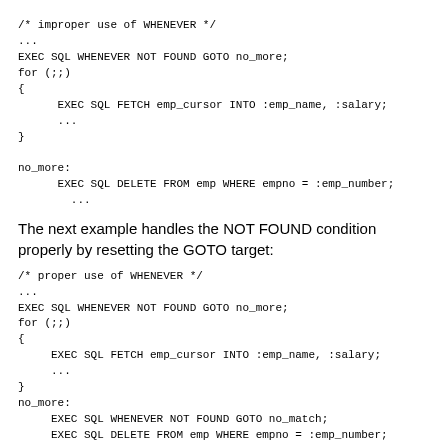/* improper use of WHENEVER */
...
EXEC SQL WHENEVER NOT FOUND GOTO no_more;
for (;;)
{
      EXEC SQL FETCH emp_cursor INTO :emp_name, :salary;
      ...
}

no_more:
      EXEC SQL DELETE FROM emp WHERE empno = :emp_number;
        ...
The next example handles the NOT FOUND condition properly by resetting the GOTO target:
/* proper use of WHENEVER */
...
EXEC SQL WHENEVER NOT FOUND GOTO no_more;
for (;;)
{
     EXEC SQL FETCH emp_cursor INTO :emp_name, :salary;
     ...
}
no_more:
     EXEC SQL WHENEVER NOT FOUND GOTO no_match;
     EXEC SQL DELETE FROM emp WHERE empno = :emp_number;
     ...